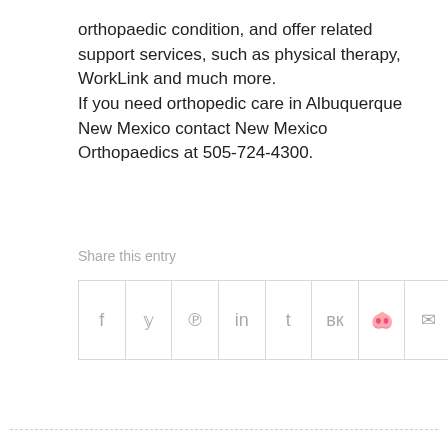orthopaedic condition, and offer related support services, such as physical therapy, WorkLink and much more.
If you need orthopedic care in Albuquerque New Mexico contact New Mexico Orthopaedics at 505-724-4300.
Share this entry
[Figure (other): Social sharing bar with icons for Facebook, Twitter, Pinterest, LinkedIn, Tumblr, VK, Reddit, and Email]